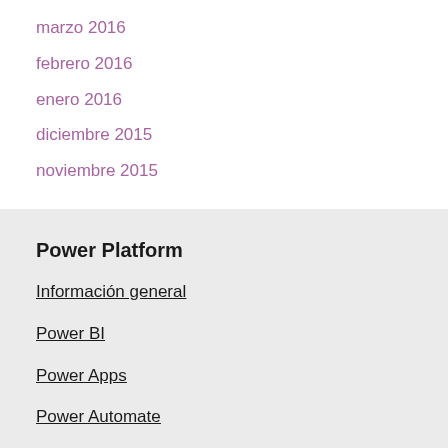marzo 2016
febrero 2016
enero 2016
diciembre 2015
noviembre 2015
Power Platform
Información general
Power BI
Power Apps
Power Automate
Power Virtual Agents